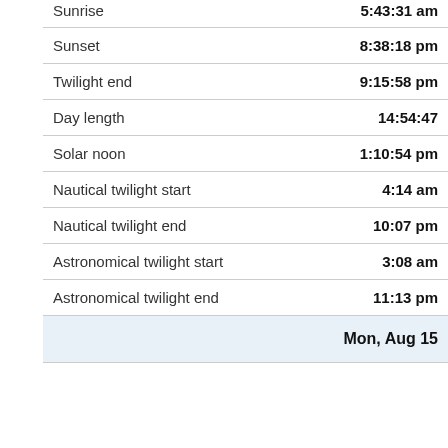|  |  |
| --- | --- |
| Sunrise | 5:43:31 am |
| Sunset | 8:38:18 pm |
| Twilight end | 9:15:58 pm |
| Day length | 14:54:47 |
| Solar noon | 1:10:54 pm |
| Nautical twilight start | 4:14 am |
| Nautical twilight end | 10:07 pm |
| Astronomical twilight start | 3:08 am |
| Astronomical twilight end | 11:13 pm |
| Mon, Aug 15 |  |